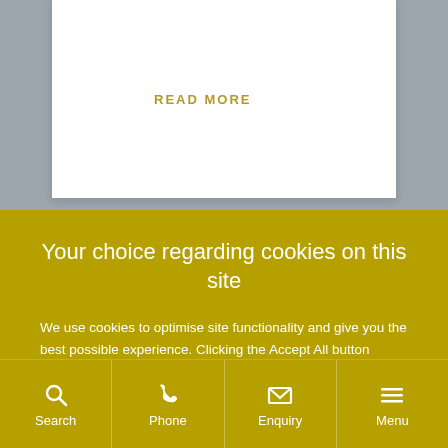READ MORE
Your choice regarding cookies on this site
We use cookies to optimise site functionality and give you the best possible experience. Clicking the Accept All button means you are accepting analytics and third-party cookies (check the full list). To control which cookies are set, click Settings.
Accept All
Settings
Search | Phone | Enquiry | Menu